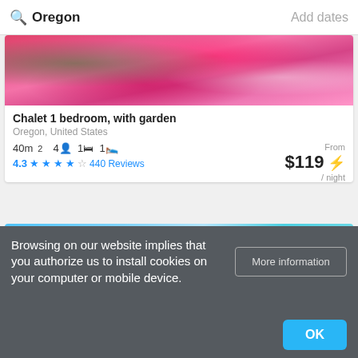Oregon   Add dates
[Figure (photo): Photo of pink flowers / garden foliage at top of hotel listing card]
Chalet 1 bedroom, with garden
Oregon, United States
40m² 4👤 1🛏 1🛏
4.3 ★★★★☆ 440 Reviews
From $119 ⚡ / night
Booking.com
Details >
View offer
[Figure (photo): Blue sky / water blurred image at top of second listing card]
Browsing on our website implies that you authorize us to install cookies on your computer or mobile device.
More information
OK